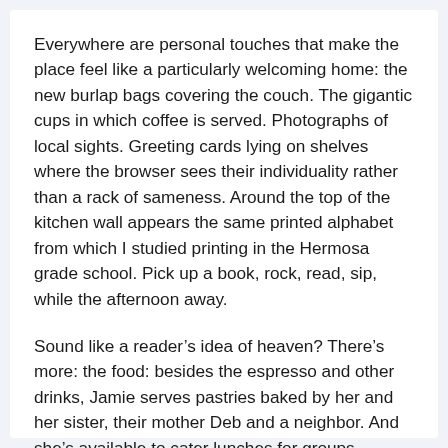Everywhere are personal touches that make the place feel like a particularly welcoming home: the new burlap bags covering the couch. The gigantic cups in which coffee is served. Photographs of local sights. Greeting cards lying on shelves where the browser sees their individuality rather than a rack of sameness. Around the top of the kitchen wall appears the same printed alphabet from which I studied printing in the Hermosa grade school. Pick up a book, rock, read, sip, while the afternoon away.
Sound like a reader’s idea of heaven? There’s more: the food: besides the espresso and other drinks, Jamie serves pastries baked by her and her sister, their mother Deb and a neighbor. And she’s available to cater lunches for groups reserving the barn for special events.